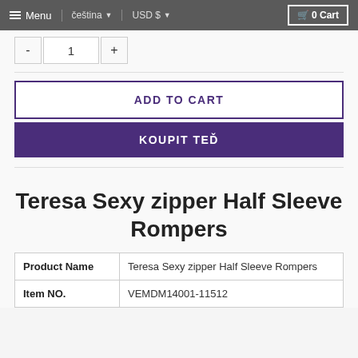Menu | čeština | USD $ | 0 Cart
- 1 +
ADD TO CART
KOUPIT TEĎ
Teresa Sexy zipper Half Sleeve Rompers
| Product Name | Teresa Sexy zipper Half Sleeve Rompers |
| --- | --- |
| Item NO. | VEMDM14001-11512 |